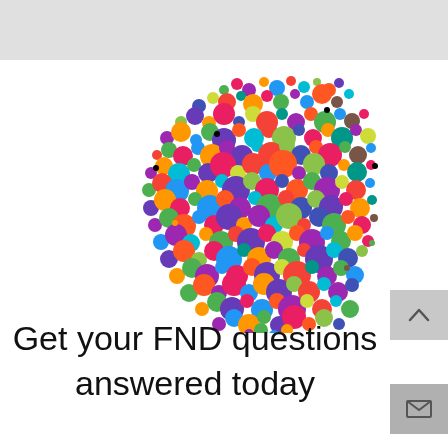[Figure (illustration): Colorful brain illustration made of many multi-colored dots/circles of varying sizes arranged in the shape of a brain]
Get your FND questions answered today